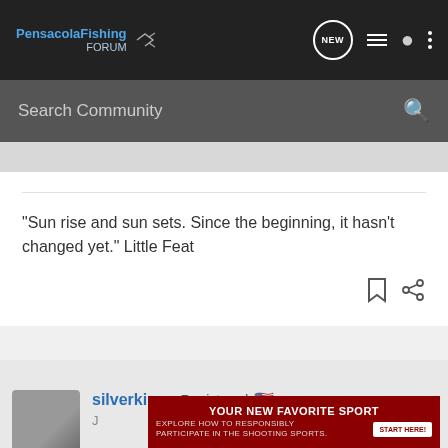PensacolaFishing FORUM
Search Community
"Sun rise and sun sets. Since the beginning, it hasn't changed yet." Little Feat
silverking · Registered
[Figure (screenshot): Advertisement overlay: YOUR NEW FAVORITE SPORT - EXPLORE HOW TO RESPONSIBLY PARTICIPATE IN THE SHOOTING SPORTS. START HERE!]